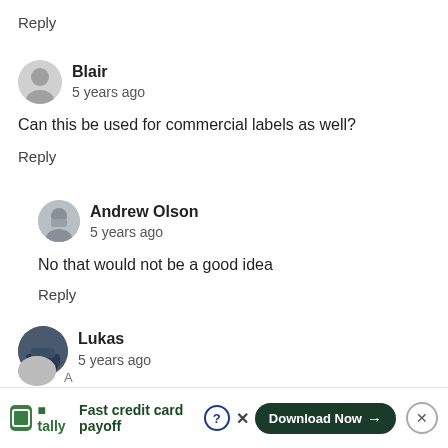Reply
Blair
5 years ago
Can this be used for commercial labels as well?
Reply
Andrew Olson
5 years ago
No that would not be a good idea
Reply
Lukas
5 years ago
Takes forever to load. I have waited 2 days, and still not loading...
Reply
[Figure (infographic): Tally advertisement banner: logo, 'Fast credit card payoff' tagline, Download Now button, close controls]